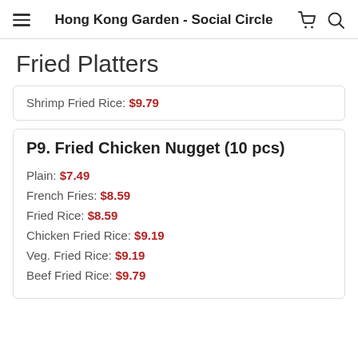Hong Kong Garden - Social Circle
Fried Platters
Shrimp Fried Rice: $9.79
P9. Fried Chicken Nugget (10 pcs)
Plain: $7.49
French Fries: $8.59
Fried Rice: $8.59
Chicken Fried Rice: $9.19
Veg. Fried Rice: $9.19
Beef Fried Rice: $9.79